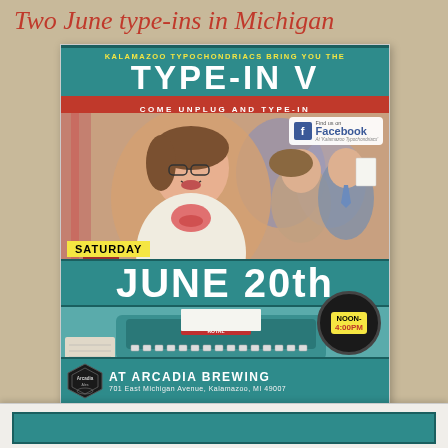Two June type-ins in Michigan
[Figure (illustration): Event poster for Kalamazoo Typochondriacs Type-In V at Arcadia Brewing, Saturday June 20th, Noon-4:00PM, 701 East Michigan Avenue, Kalamazoo, MI 49007. Features a vintage-style photo of a smiling woman with glasses at a typewriter, a teal and white color scheme, and a circular time badge.]
[Figure (illustration): Partial view of a second event poster at the bottom of the page, showing a teal banner.]